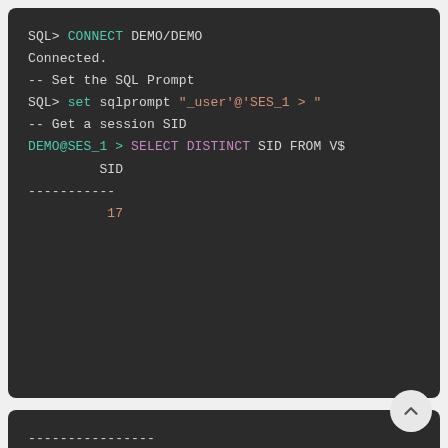[Figure (screenshot): SQL*Plus terminal session showing CONNECT command, sqlprompt setting, and SELECT DISTINCT SID query with result of 17]
[Figure (screenshot): Bottom terminal snippet showing dashes and Session 2 comment]